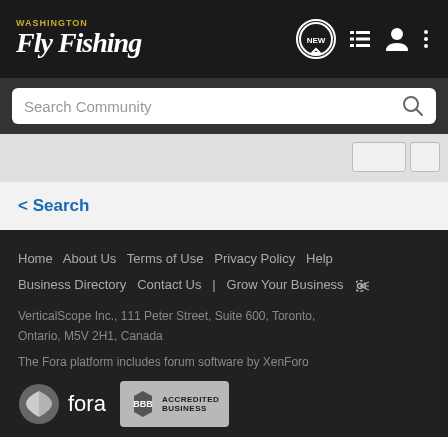Washington Fly Fishing
Search Community
< Search
Home   About Us   Terms of Use   Privacy Policy   Help   Business Directory   Contact Us   |   Grow Your Business
VerticalScope Inc., 111 Peter Street, Suite 600, Toronto, Ontario, M5V 2H1, Canada
The Fora platform includes forum software by XenForo
[Figure (logo): Fora platform logo and BBB Accredited Business badge]